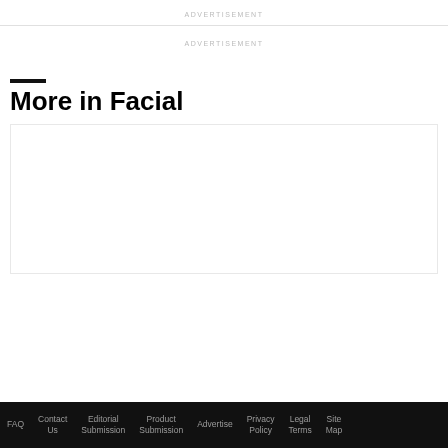ADVERTISEMENT
ADVERTISEMENT
More in Facial
[Figure (other): Empty card/image placeholder box with border]
FAQ  Contact Us  Editorial Submission  Product Submission  Advertise  Privacy Policy  Legal Terms  Site Map